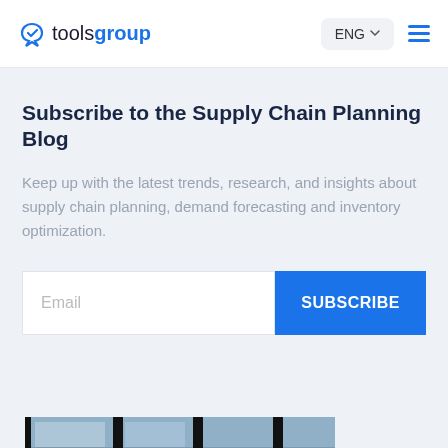toolsgroup — ENG menu
Subscribe to the Supply Chain Planning Blog
Keep up with the latest trends, research, and insights about supply chain planning, demand forecasting and inventory optimization.
[Figure (screenshot): Email input field and SUBSCRIBE button]
[Figure (photo): Partial photo of a building interior with dark window frames, visible at the bottom of the page]